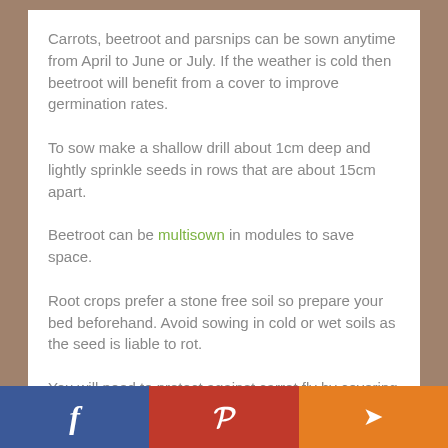Carrots, beetroot and parsnips can be sown anytime from April to June or July. If the weather is cold then beetroot will benefit from a cover to improve germination rates.
To sow make a shallow drill about 1cm deep and lightly sprinkle seeds in rows that are about 15cm apart.
Beetroot can be multisown in modules to save space.
Root crops prefer a stone free soil so prepare your bed beforehand. Avoid sowing in cold or wet soils as the seed is liable to rot.
You will need to protect against carrot fly by covering in a fine mesh net and only thinning and harvesting your carrots
Facebook | Pinterest | Share